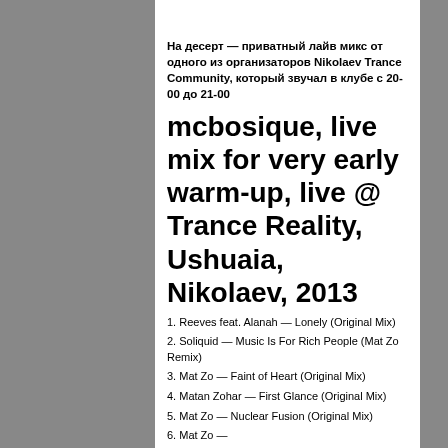На десерт — приватный лайв микс от одного из организаторов Nikolaev Trance Community, который звучал в клубе с 20-00 до 21-00
mcbosique, live mix for very early warm-up, live @ Trance Reality, Ushuaia, Nikolaev, 2013
1. Reeves feat. Alanah — Lonely (Original Mix)
2. Soliquid — Music Is For Rich People (Mat Zo Remix)
3. Mat Zo — Faint of Heart (Original Mix)
4. Matan Zohar — First Glance (Original Mix)
5. Mat Zo — Nuclear Fusion (Original Mix)
6. Mat Zo — ...